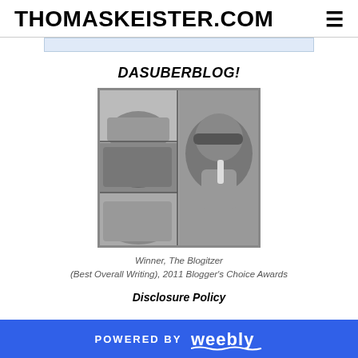THOMASKEISTER.COM
DASUBERBLOG!
[Figure (photo): Black and white photo collage showing multiple close-up shots of a person's face from different angles, arranged in a grid with a larger image on the right side.]
Winner, The Blogitzer
(Best Overall Writing), 2011 Blogger's Choice Awards
Disclosure Policy
POWERED BY weebly